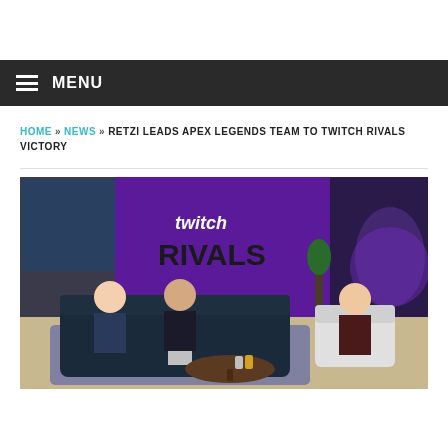MENU
HOME » NEWS » RETZI LEADS APEX LEGENDS TEAM TO TWITCH RIVALS VICTORY
[Figure (photo): Three people seated in a gaming studio set with a 'twitch RIVALS' purple banner backdrop and Apex Legends artwork visible. Two people sit on a dark leather sofa, one sits in a white armchair.]